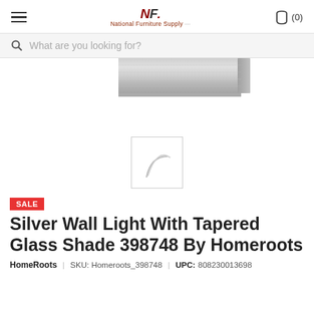NF National Furniture Supply (0)
What are you looking for?
[Figure (photo): Silver wall light fixture with brushed nickel rectangular bar at top, shown partially cropped]
[Figure (photo): Thumbnail image of wall light with tapered glass shade, showing white/silver curved shade detail]
SALE
Silver Wall Light With Tapered Glass Shade 398748 By Homeroots
HomeRoots   SKU: Homeroots_398748 | UPC: 808230013698